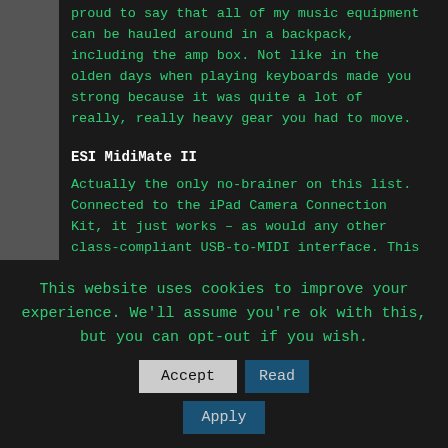proud to say that all of my music equipment can be hauled around in a backpack, including the amp box. Not like in the olden days when playing keyboards made you strong because it was quite a lot of really, really heavy gear you had to move.
ESI MidiMate II
Actually the only no-brainer on this list. Connected to the iPad Camera Connection Kit, it just works – as would any other class-compliant USB-to-MIDI interface. This one's cheap and has the additional benefit that you can plug the MIDI connectors into MIDI IN or MIDI OUT – the interface figures
This website uses cookies to improve your experience. We'll assume you're ok with this, but you can opt-out if you wish.